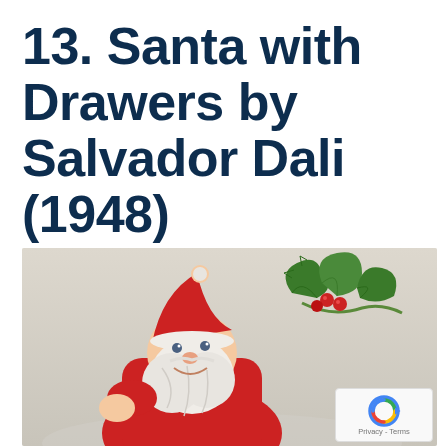13. Santa with Drawers by Salvador Dali (1948)
[Figure (illustration): Illustration of Santa Claus in red suit with white beard, looking sideways, with a decorative holly branch with red berries in the upper right. Winter/snowy background. Partial image cropped at bottom.]